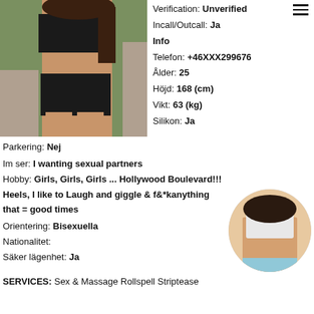[Figure (photo): Woman in black lingerie top and shorts standing outdoors]
Verification: Unverified
Incall/Outcall: Ja
Info
Telefon: +46XXX299676
Ålder: 25
Höjd: 168 (cm)
Vikt: 63 (kg)
Silikon: Ja
Parkering: Nej
Im ser: I wanting sexual partners
Hobby: Girls, Girls, Girls ... Hollywood Boulevard!!! Heels, I like to Laugh and giggle & f&*kanything that = good times
Orientering: Bisexuella
Nationalitet:
Säker lägenhet: Ja
[Figure (photo): Woman in white top lifting shirt, circular cropped photo]
SERVICES: Sex & Massage Rollspell Striptease